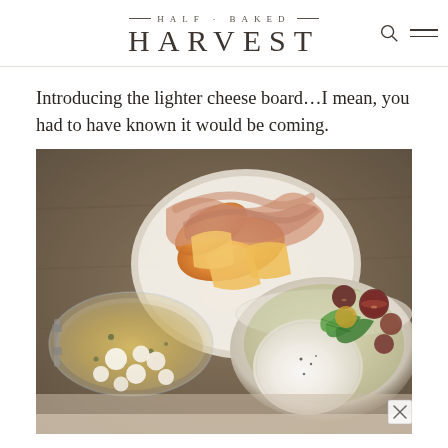HALF BAKED HARVEST
Introducing the lighter cheese board…I mean, you had to have known it would be coming.
[Figure (photo): Overhead food photo of a lighter cheese board featuring prosciutto-wrapped cantaloupe melon slices on a plate, a glass jar of marinated mozzarella balls in herb oil, and a ceramic bowl of burrata with heirloom cherry tomatoes and fresh basil leaves, all arranged on a rustic dark surface.]